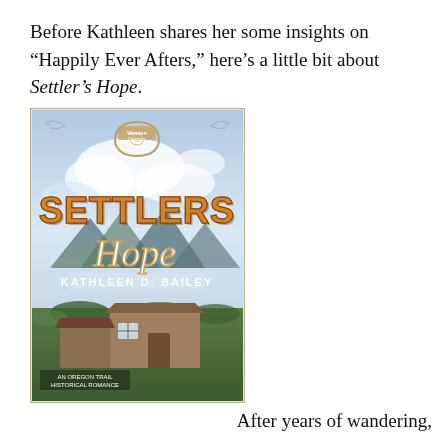Before Kathleen shares her some insights on “Happily Ever Afters,” here’s a little bit about Settler’s Hope.
[Figure (illustration): Book cover of 'Settlers Hope' by Kathleen D. Bailey — an Oregon Trail Historical Romance. Shows large bold orange text 'SETTLERS' and script text 'Hope', author name 'KATHLEEN D. BAILEY', with a background of a rustic wooden building, mountains, and dramatic sky. A decorative horseshoe and floral emblem at top with 'Western Dreams' badge.]
After years of wandering,